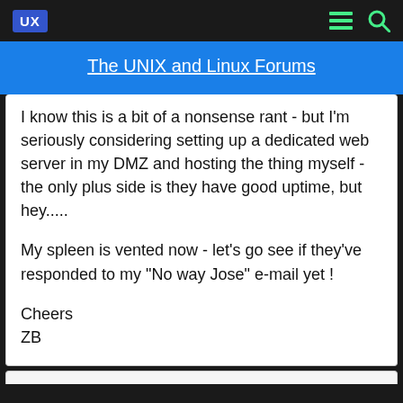UX | The UNIX and Linux Forums
I know this is a bit of a nonsense rant - but I'm seriously considering setting up a dedicated web server in my DMZ and hosting the thing myself - the only plus side is they have good uptime, but hey.....

My spleen is vented now - let's go see if they've responded to my "No way Jose" e-mail yet !

Cheers
ZB